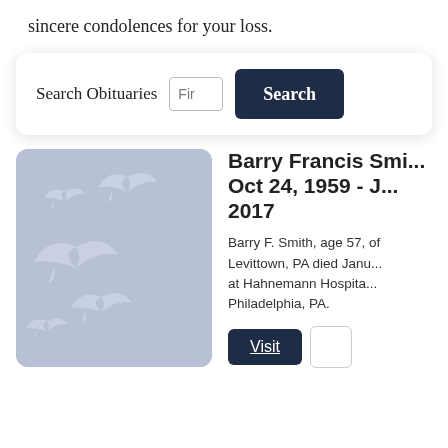sincere condolences for your loss.
Search Obituaries
Search
Barry Francis Smi... Oct 24, 1959 - J... 2017
[Figure (illustration): Placeholder obituary image with light blue-grey background and white silhouette birds (swallows) in flight, rounded rectangle shape.]
Barry F. Smith, age 57, of Levittown, PA died Janu... at Hahnemann Hospita... Philadelphia, PA.
Visit